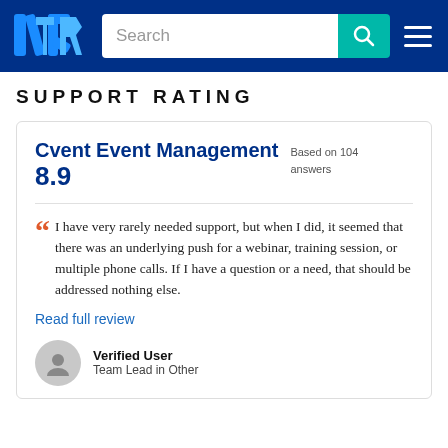TrustRadius - Search
SUPPORT RATING
Cvent Event Management 8.9
Based on 104 answers
I have very rarely needed support, but when I did, it seemed that there was an underlying push for a webinar, training session, or multiple phone calls. If I have a question or a need, that should be addressed nothing else.
Read full review
Verified User
Team Lead in Other